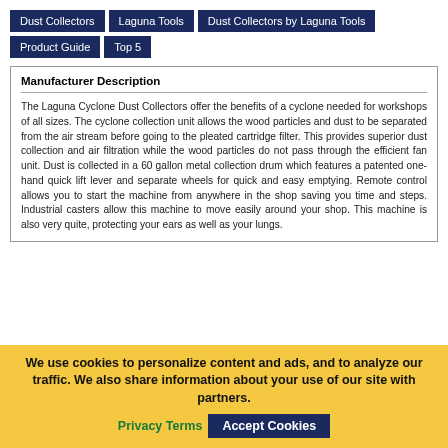Dust Collectors | Laguna Tools | Dust Collectors by Laguna Tools | Product Guide | Top 5
Manufacturer Description
The Laguna Cyclone Dust Collectors offer the benefits of a cyclone needed for workshops of all sizes. The cyclone collection unit allows the wood particles and dust to be separated from the air stream before going to the pleated cartridge filter. This provides superior dust collection and air filtration while the wood particles do not pass through the efficient fan unit. Dust is collected in a 60 gallon metal collection drum which features a patented one-hand quick lift lever and separate wheels for quick and easy emptying. Remote control allows you to start the machine from anywhere in the shop saving you time and steps. Industrial casters allow this machine to move easily around your shop. This machine is also very quite, protecting your ears as well as your lungs.
We use cookies to personalize content and ads, and to analyze our traffic. We also share information about your use of our site with partners. Privacy Terms Accept Cookies